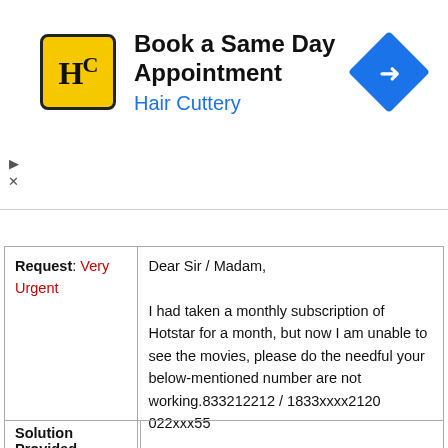[Figure (other): Hair Cuttery advertisement banner with logo, 'Book a Same Day Appointment' heading, 'Hair Cuttery' subheading in blue, and a blue diamond arrow icon]
| Request: Very Urgent | Dear Sir / Madam,
I had taken a monthly subscription of Hotstar for a month, but now I am unable to see the movies, please do the needful your below-mentioned number are not working.833212212 / 1833xxxx2120
022xxx55

(Monthly Subscription) |
| Solution Provided |  |